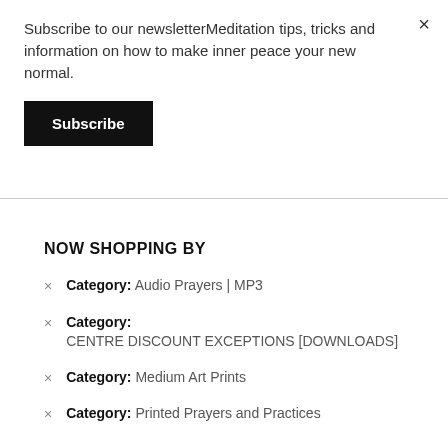Subscribe to our newsletterMeditation tips, tricks and information on how to make inner peace your new normal.
Subscribe
NOW SHOPPING BY
Category: Audio Prayers | MP3
Category: CENTRE DISCOUNT EXCEPTIONS [DOWNLOADS]
Category: Medium Art Prints
Category: Printed Prayers and Practices